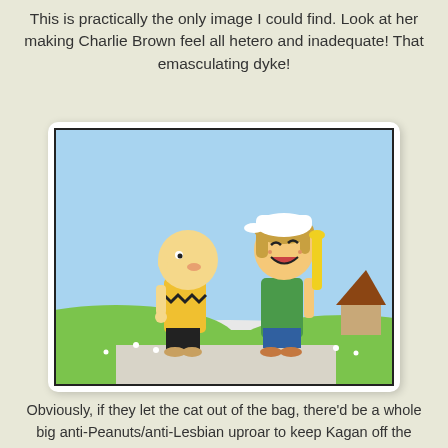This is practically the only image I could find. Look at her making Charlie Brown feel all hetero and inadequate!  That emasculating dyke!
[Figure (illustration): A Peanuts cartoon illustration showing Charlie Brown (in his yellow shirt with black zigzag stripe) facing a laughing girl character wearing a baseball cap and holding a yellow bat, standing on a path with green grass and flowers in the background.]
Obviously, if they let the cat out of the bag, there'd be a whole big anti-Peanuts/anti-Lesbian uproar to keep Kagan off the bench. (And I'm not sure if there's a pun in there or not, but if she's off the bench, isn't she actively playing? What do these people want?)